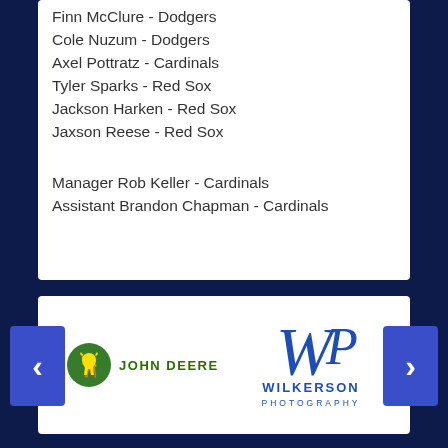Finn McClure - Dodgers
Cole Nuzum - Dodgers
Axel Pottratz - Cardinals
Tyler Sparks - Red Sox
Jackson Harken - Red Sox
Jaxson Reese - Red Sox
Manager Rob Keller - Cardinals
Assistant Brandon Chapman - Cardinals
[Figure (logo): John Deere logo with green deer icon and green uppercase text JOHN DEERE]
[Figure (logo): Wilkerson Photography logo with WP script monogram in blue and WILKERSON PHOTOGRAPHY text below]